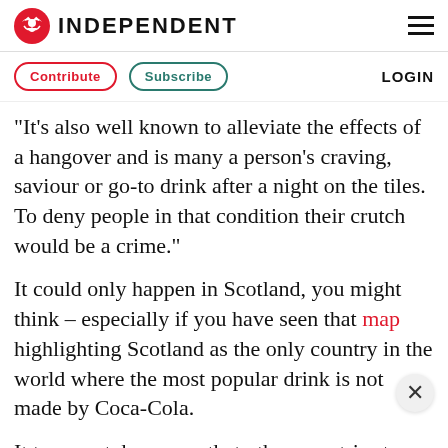INDEPENDENT
Contribute  Subscribe  LOGIN
"It's also well known to alleviate the effects of a hangover and is many a person's craving, saviour or go-to drink after a night on the tiles. To deny people in that condition their crutch would be a crime."
It could only happen in Scotland, you might think – especially if you have seen that map highlighting Scotland as the only country in the world where the most popular drink is not made by Coca-Cola.
It turns out, however, that other countries too